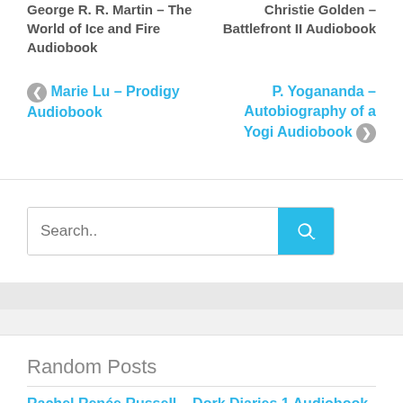George R. R. Martin – The World of Ice and Fire Audiobook
Christie Golden – Battlefront II Audiobook
◀ Marie Lu – Prodigy Audiobook
P. Yogananda – Autobiography of a Yogi Audiobook ▶
Search..
Random Posts
Rachel Renée Russell – Dork Diaries 1 Audiobook